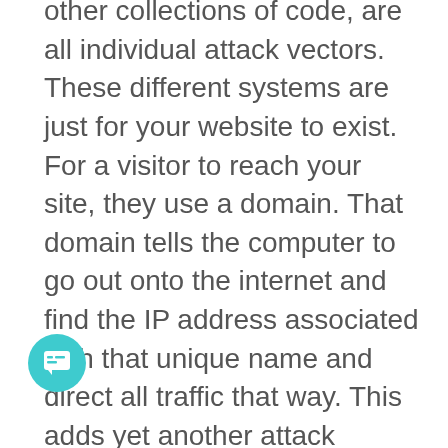other collections of code, are all individual attack vectors. These different systems are just for your website to exist. For a visitor to reach your site, they use a domain. That domain tells the computer to go out onto the internet and find the IP address associated with that unique name and direct all traffic that way. This adds yet another attack vector.

One thing I rarely see mentioned when it comes to website security is the users. Who has access to your site? Who can login to your site? Are they using a secure password? Are they using 2-factor authentication? When they login are they treated as an admin? Can they see and update everything? Does the person who is responsible for creating new job